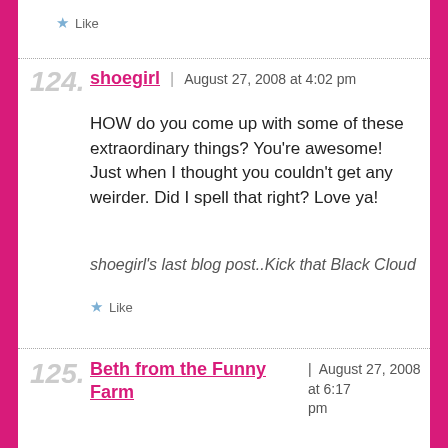★ Like
124. shoegirl | August 27, 2008 at 4:02 pm
HOW do you come up with some of these extraordinary things? You're awesome! Just when I thought you couldn't get any weirder. Did I spell that right? Love ya!
shoegirl's last blog post..Kick that Black Cloud
★ Like
125. Beth from the Funny Farm | August 27, 2008 at 6:17 pm